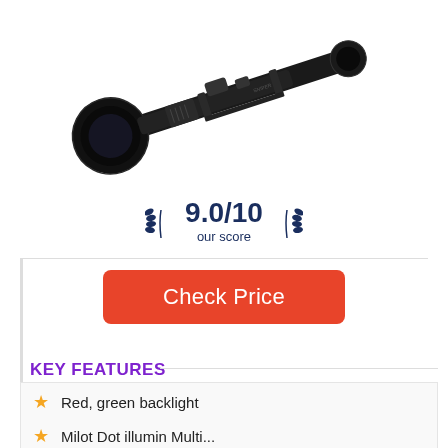[Figure (photo): Black rifle scope/optic shown diagonally, angled from lower-left to upper-right on white background]
9.0/10 our score
Check Price
KEY FEATURES
Red, green backlight
Milot Dot illumin Multi...